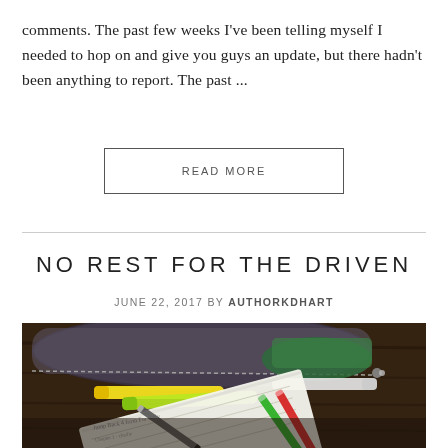comments. The past few weeks I've been telling myself I needed to hop on and give you guys an update, but there hadn't been anything to report. The past ...
READ MORE
NO REST FOR THE DRIVEN
JUNE 22, 2017 BY AUTHORKDHART
[Figure (photo): Photo of a sparkly purse/bag with a zipper, with highlighters and pens sitting on top of handwritten notes on a dark wooden surface.]